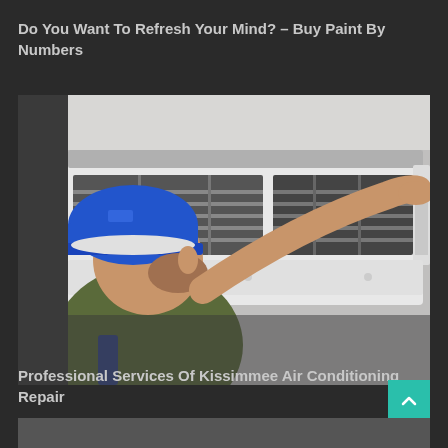Do You Want To Refresh Your Mind? – Buy Paint By Numbers
[Figure (photo): A technician wearing a blue hard hat and olive green shirt inspecting or servicing a wall-mounted air conditioning unit, with his hands reaching up to open the unit's cover panel.]
Professional Services Of Kissimmee Air Conditioning Repair
[Figure (other): Scroll-to-top button (teal/green square with upward chevron arrow) and bottom strip of the next photo partially visible.]